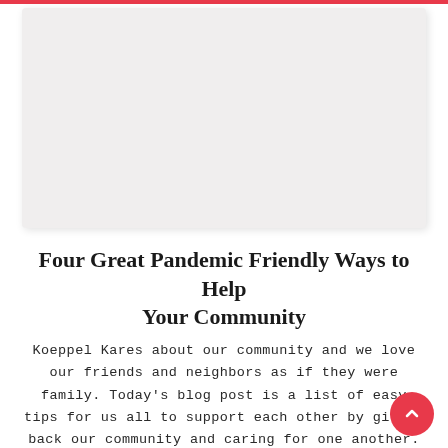[Figure (photo): Placeholder/blank light grey image area at top of blog post page]
Four Great Pandemic Friendly Ways to Help Your Community
Koeppel Kares about our community and we love our friends and neighbors as if they were family. Today's blog post is a list of easy tips for us all to support each other by giving back our community and caring for one another. Check…